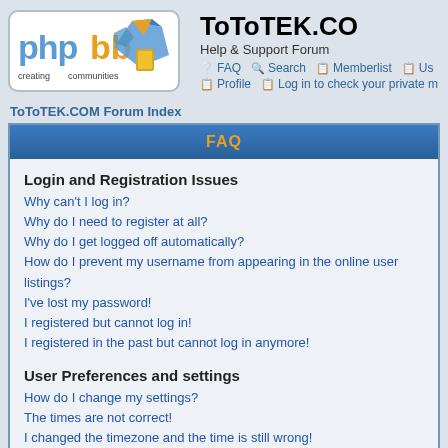[Figure (logo): phpBB logo with 'creating communities' tagline and blue/orange geometric shapes]
ToToTEK.CO
Help & Support Forum
FAQ  Search  Memberlist  Us  Profile  Log in to check your private m
ToToTEK.COM Forum Index
FAQ
Login and Registration Issues
Why can't I log in?
Why do I need to register at all?
Why do I get logged off automatically?
How do I prevent my username from appearing in the online user listings?
I've lost my password!
I registered but cannot log in!
I registered in the past but cannot log in anymore!
User Preferences and settings
How do I change my settings?
The times are not correct!
I changed the timezone and the time is still wrong!
My language is not in the list!
How do I show an image below my username?
How do I change my rank?
When I click the email link for a user it asks me to log in.